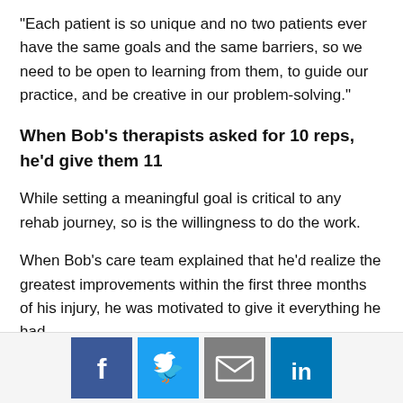"Each patient is so unique and no two patients ever have the same goals and the same barriers, so we need to be open to learning from them, to guide our practice, and be creative in our problem-solving."
When Bob's therapists asked for 10 reps, he'd give them 11
While setting a meaningful goal is critical to any rehab journey, so is the willingness to do the work.
When Bob's care team explained that he'd realize the greatest improvements within the first three months of his injury, he was motivated to give it everything he had.
If his therapists asked for 10 reps, he'd give them 11. And
[Figure (infographic): Social share bar with four icon buttons: Facebook (dark blue), Twitter (light blue), Email (gray), LinkedIn (blue)]